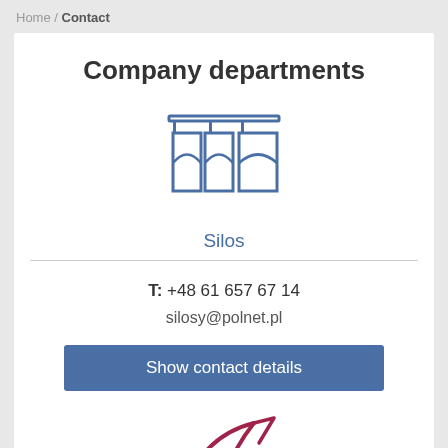Home / Contact
Company departments
[Figure (illustration): Icon of silos — three hanging silo/bin shapes on a rack, drawn in blue outline style]
Silos
T: +48 61 657 67 14
silosy@polnet.pl
Show contact details
[Figure (illustration): Partial logo/icon in dark red/maroon color, showing a stylized bird or arrow shape, partially cut off at bottom of page]